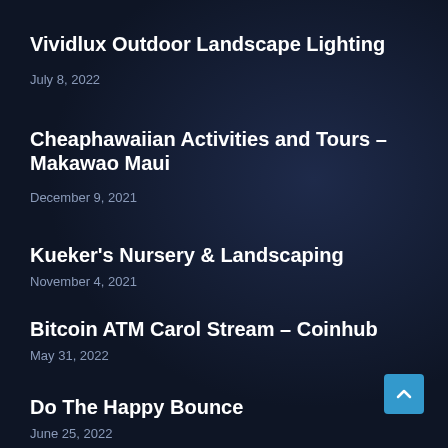Vividlux Outdoor Landscape Lighting
July 8, 2022
Cheaphawaiian Activities and Tours – Makawao Maui
December 9, 2021
Kueker's Nursery & Landscaping
November 4, 2021
Bitcoin ATM Carol Stream – Coinhub
May 31, 2022
Do The Happy Bounce
June 25, 2022